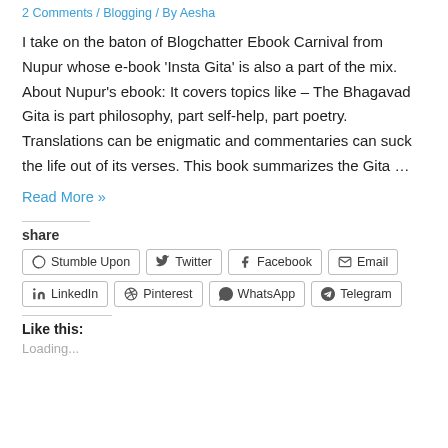2 Comments / Blogging / By Aesha
I take on the baton of Blogchatter Ebook Carnival from Nupur whose e-book ‘Insta Gita’ is also a part of the mix. About Nupur’s ebook: It covers topics like – The Bhagavad Gita is part philosophy, part self-help, part poetry. Translations can be enigmatic and commentaries can suck the life out of its verses. This book summarizes the Gita …
Read More »
share
Stumble Upon  Twitter  Facebook  Email  LinkedIn  Pinterest  WhatsApp  Telegram
Like this:
Loading...